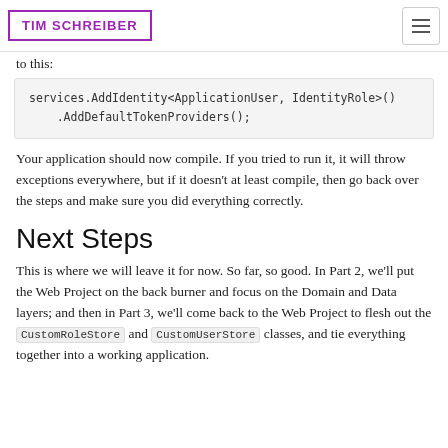TIM SCHREIBER
to this:
services.AddIdentity<ApplicationUser, IdentityRole>()
    .AddDefaultTokenProviders();
Your application should now compile. If you tried to run it, it will throw exceptions everywhere, but if it doesn't at least compile, then go back over the steps and make sure you did everything correctly.
Next Steps
This is where we will leave it for now. So far, so good. In Part 2, we'll put the Web Project on the back burner and focus on the Domain and Data layers; and then in Part 3, we'll come back to the Web Project to flesh out the CustomRoleStore and CustomUserStore classes, and tie everything together into a working application.